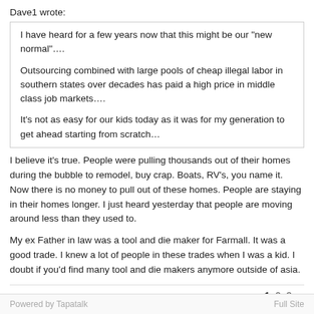Dave1 wrote:
I have heard for a few years now that this might be our "new normal"….

Outsourcing combined with large pools of cheap illegal labor in southern states over decades has paid a high price in middle class job markets….

It's not as easy for our kids today as it was for my generation to get ahead starting from scratch…
I believe it's true. People were pulling thousands out of their homes during the bubble to remodel, buy crap. Boats, RV's, you name it. Now there is no money to pull out of these homes. People are staying in their homes longer. I just heard yesterday that people are moving around less than they used to.
My ex Father in law was a tool and die maker for Farmall. It was a good trade. I knew a lot of people in these trades when I was a kid. I doubt if you'd find many tool and die makers anymore outside of asia.
« 1 2 3 »
Powered by Tapatalk    Full Site